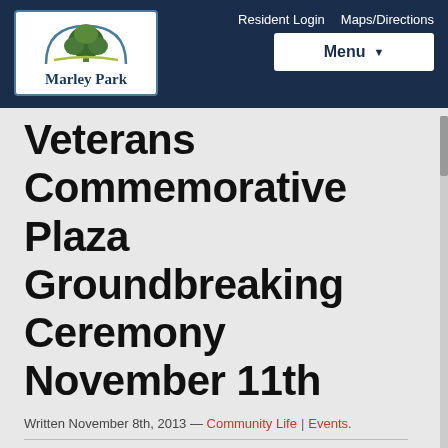Marley Park | Resident Login | Maps/Directions | Menu
Veterans Commemorative Plaza Groundbreaking Ceremony November 11th
Written November 8th, 2013 — Community Life | Events.
[Figure (photo): Veterans Commemorative Plaza Groundbreaking on Veterans Day — image placeholder]
The Marley Park community in Surprise, AZ has come